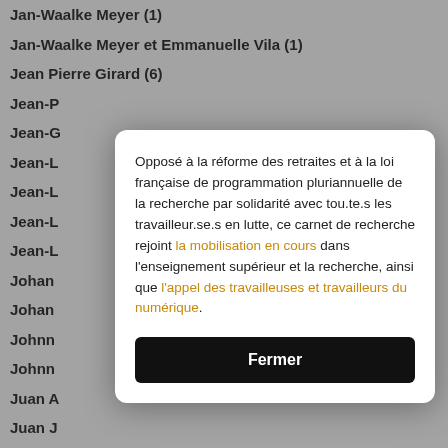Jan-Waalke Meyer (1)
Jan-Waalke Meyer et Emmanuelle Vila (1)
Jean Pierre Girard (6)
Jean-P…
Jean-G…
Jean-L…
Jean-L…
Jean-L…
Jean-L… (1)
Johan…
Johan…
Johnn…
Johnn…
Juan A…
Juan J…
Juan J…
Juan Jose Ibanez, Juan F. Gibaja, Bernard Gassin et Niccolo Mazzucco (1)
Julie Bessenay-Prolonge (1)
Opposé à la réforme des retraites et à la loi française de programmation pluriannuelle de la recherche par solidarité avec tou.te.s les travailleur.se.s en lutte, ce carnet de recherche rejoint la mobilisation en cours dans l'enseignement supérieur et la recherche, ainsi que l'appel des travailleuses et travailleurs du numérique.
Fermer